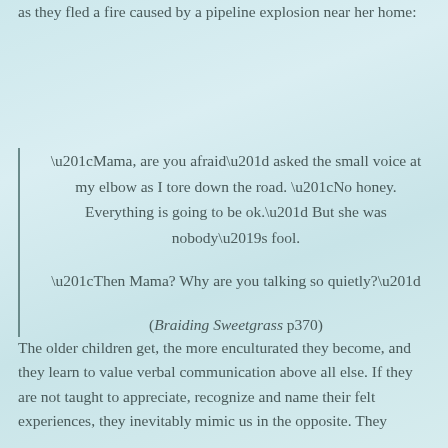as they fled a fire caused by a pipeline explosion near her home:
“Mama, are you afraid” asked the small voice at my elbow as I tore down the road. “No honey. Everything is going to be ok.” But she was nobody’s fool.

“Then Mama? Why are you talking so quietly?”

(Braiding Sweetgrass p370)
The older children get, the more enculturated they become, and they learn to value verbal communication above all else. If they are not taught to appreciate, recognize and name their felt experiences, they inevitably mimic us in the opposite. They